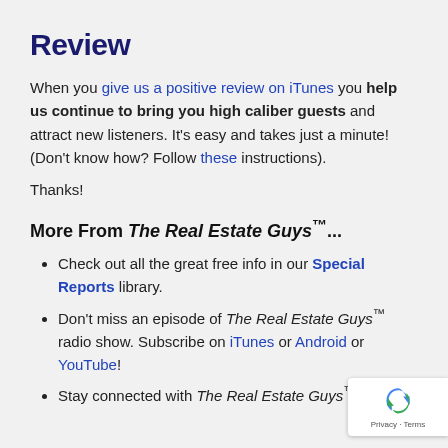Review
When you give us a positive review on iTunes you help us continue to bring you high caliber guests and attract new listeners. It's easy and takes just a minute! (Don't know how? Follow these instructions).
Thanks!
More From The Real Estate Guys™...
Check out all the great free info in our Special Reports library.
Don't miss an episode of The Real Estate Guys™ radio show. Subscribe on iTunes or Android or YouTube!
Stay connected with The Real Estate Guys™